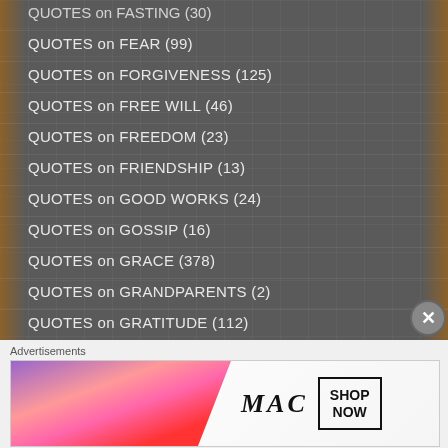QUOTES on FASTING (30)
QUOTES on FEAR (99)
QUOTES on FORGIVENESS (125)
QUOTES on FREE WILL (46)
QUOTES on FREEDOM (23)
QUOTES on FRIENDSHIP (13)
QUOTES on GOOD WORKS (24)
QUOTES on GOSSIP (16)
QUOTES on GRACE (378)
QUOTES on GRANDPARENTS (2)
QUOTES on GRATITUDE (112)
Advertisements
[Figure (photo): MAC cosmetics advertisement showing colorful lipsticks with MAC logo and SHOP NOW call to action box]